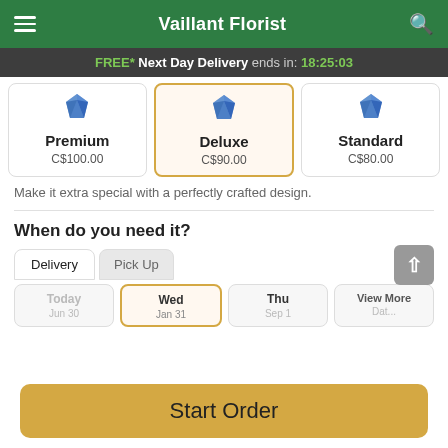Vaillant Florist
FREE* Next Day Delivery ends in: 18:25:03
| Premium | Deluxe | Standard |
| --- | --- | --- |
| C$100.00 | C$90.00 | C$80.00 |
Make it extra special with a perfectly crafted design.
When do you need it?
Delivery | Pick Up
Today | Wed | Thu | View More
Start Order